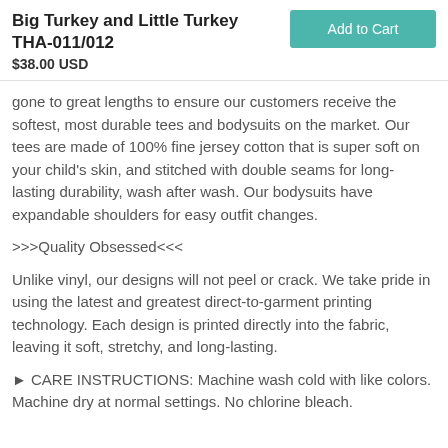Big Turkey and Little Turkey THA-011/012
$38.00 USD
gone to great lengths to ensure our customers receive the softest, most durable tees and bodysuits on the market. Our tees are made of 100% fine jersey cotton that is super soft on your child's skin, and stitched with double seams for long-lasting durability, wash after wash. Our bodysuits have expandable shoulders for easy outfit changes.
>>>Quality Obsessed<<<
Unlike vinyl, our designs will not peel or crack. We take pride in using the latest and greatest direct-to-garment printing technology. Each design is printed directly into the fabric, leaving it soft, stretchy, and long-lasting.
► CARE INSTRUCTIONS: Machine wash cold with like colors. Machine dry at normal settings. No chlorine bleach.